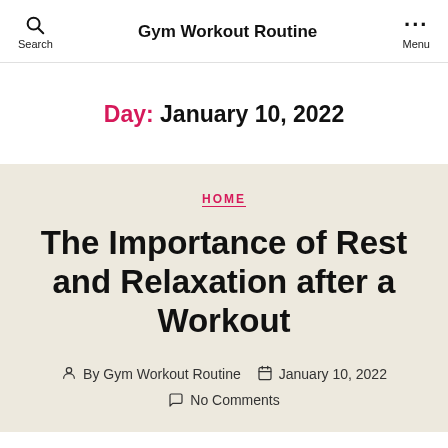Gym Workout Routine
Day: January 10, 2022
HOME
The Importance of Rest and Relaxation after a Workout
By Gym Workout Routine  January 10, 2022  No Comments